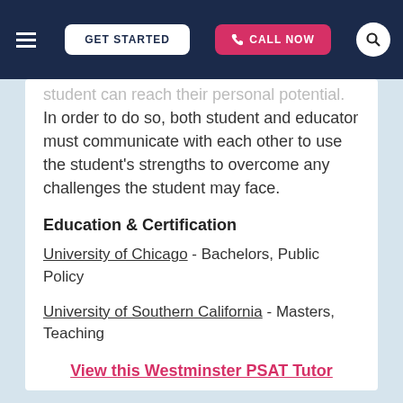GET STARTED | CALL NOW
student can reach their personal potential. In order to do so, both student and educator must communicate with each other to use the student's strengths to overcome any challenges the student may face.
Education & Certification
University of Chicago - Bachelors, Public Policy
University of Southern California - Masters, Teaching
View this Westminster PSAT Tutor